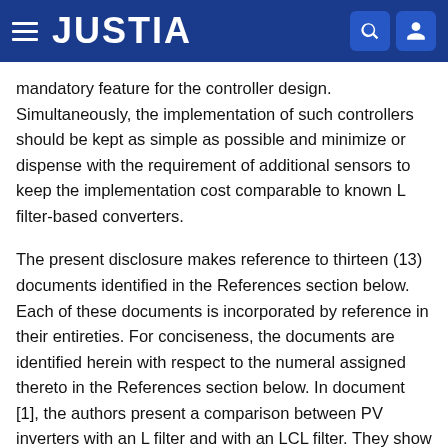JUSTIA
mandatory feature for the controller design. Simultaneously, the implementation of such controllers should be kept as simple as possible and minimize or dispense with the requirement of additional sensors to keep the implementation cost comparable to known L filter-based converters.
The present disclosure makes reference to thirteen (13) documents identified in the References section below. Each of these documents is incorporated by reference in their entireties. For conciseness, the documents are identified herein with respect to the numeral assigned thereto in the References section below. In document [1], the authors present a comparison between PV inverters with an L filter and with an LCL filter. They show that with both schemes the low frequency harmonics attenuation is more and less the same. However, in the